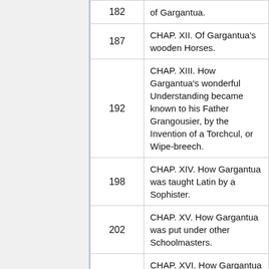| Page | Chapter |
| --- | --- |
| 182 | of Gargantua. |
| 187 | CHAP. XII. Of Gargantua's wooden Horses. |
| 192 | CHAP. XIII. How Gargantua's wonderful Understanding became known to his Father Grangousier, by the Invention of a Torchcul, or Wipe-breech. |
| 198 | CHAP. XIV. How Gargantua was taught Latin by a Sophister. |
| 202 | CHAP. XV. How Gargantua was put under other Schoolmasters. |
| 206 | CHAP. XVI. How Gargantua was sent to Paris, and of the huge great Mare that he rode on; How she destroyed the Ox-flies of the Beauce. |